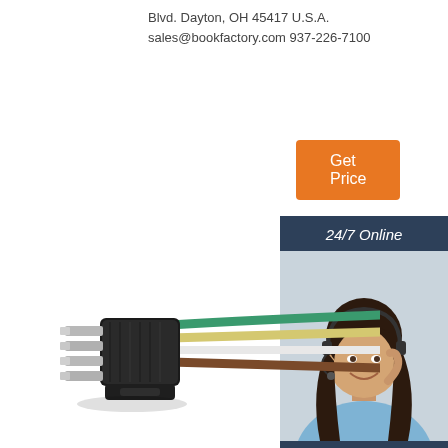Blvd. Dayton, OH 45417 U.S.A.
sales@bookfactory.com 937-226-7100
Get Price
[Figure (photo): Customer service representative with headset smiling, with 24/7 Online header, Click here for free chat text, and QUOTATION button on dark blue sidebar]
[Figure (photo): Multi-pin electrical connector (4-pin flat trailer connector) with colored wires: green, yellow/white, brown]